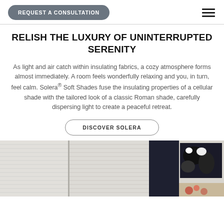REQUEST A CONSULTATION
RELISH THE LUXURY OF UNINTERRUPTED SERENITY
As light and air catch within insulating fabrics, a cozy atmosphere forms almost immediately. A room feels wonderfully relaxing and you, in turn, feel calm. Solera® Soft Shades fuse the insulating properties of a cellular shade with the tailored look of a classic Roman shade, carefully dispersing light to create a peaceful retreat.
DISCOVER SOLERA
[Figure (photo): Two white cellular/soft shades hanging in a window on the left; on the right a dark room with a black and white abstract painting on the wall.]